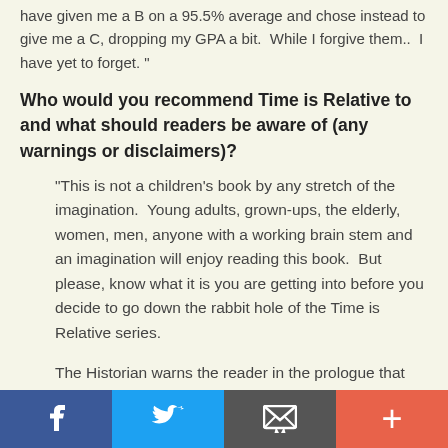have given me a B on a 95.5% average and chose instead to give me a C, dropping my GPA a bit.  While I forgive them..  I have yet to forget. "
Who would you recommend Time is Relative to and what should readers be aware of (any warnings or disclaimers)?
"This is not a children's book by any stretch of the imagination.  Young adults, grown-ups, the elderly, women, men, anyone with a working brain stem and an imagination will enjoy reading this book.  But please, know what it is you are getting into before you decide to go down the rabbit hole of the Time is Relative series.
The Historian warns the reader in the prologue that they may read something to truly shock them.  I've had nearly everyone who has read it be mad at me for something.. even small
[Figure (infographic): Social sharing bar with Facebook (blue), Twitter (light blue), Email/envelope (dark gray), and Plus/more (coral red) buttons]